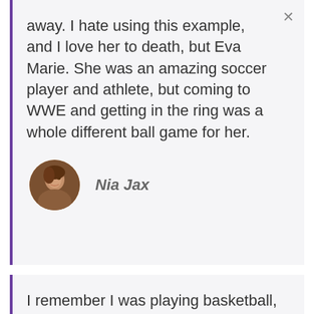away. I hate using this example, and I love her to death, but Eva Marie. She was an amazing soccer player and athlete, but coming to WWE and getting in the ring was a whole different ball game for her.
Nia Jax
[Figure (photo): Circular avatar photo of Nia Jax]
I remember I was playing basketball, and an entire arena was, like, chanting 'Big Foot.' It was a high school game, but... you're constantly